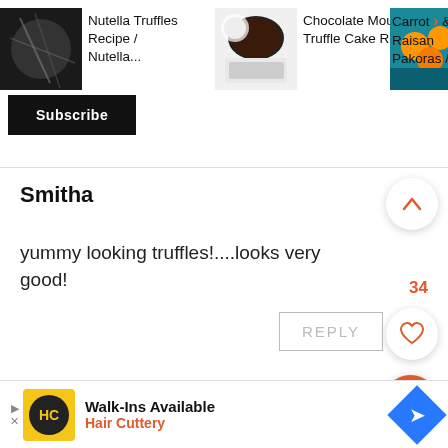[Figure (screenshot): Top bar with three related recipe thumbnails and titles: 'Nutella Truffles Recipe / Nutella...', 'Chocolate Mousse Truffle Cake Recipe', 'Carrot & Raisin Pakoras /...' with a Subscribe button below]
Smitha
yummy looking truffles!....looks very good!
[Figure (screenshot): REPLY button, up-arrow circle button, heart circle button (count 34), orange search circle button, and X close button as UI elements]
[Figure (screenshot): Advertisement banner: Walk-Ins Available - Hair Cuttery with logo and navigation icon]